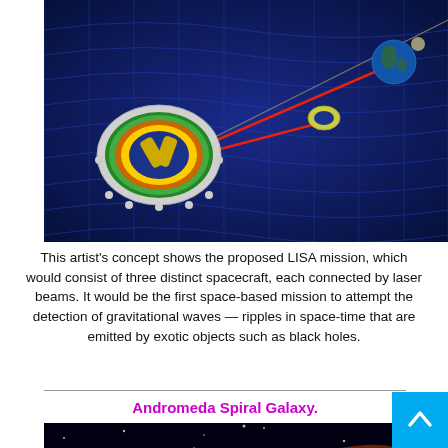[Figure (illustration): Artist's concept illustration of the proposed LISA mission showing three spacecraft connected by red laser beams against a dark blue space-time grid background with Earth visible in upper right.]
This artist's concept shows the proposed LISA mission, which would consist of three distinct spacecraft, each connected by laser beams. It would be the first space-based mission to attempt the detection of gravitational waves — ripples in space-time that are emitted by exotic objects such as black holes.
Andromeda Spiral Galaxy.
[Figure (photo): Astronomical image of the Andromeda Spiral Galaxy showing orange and yellow glowing galactic structure against a black starfield background.]